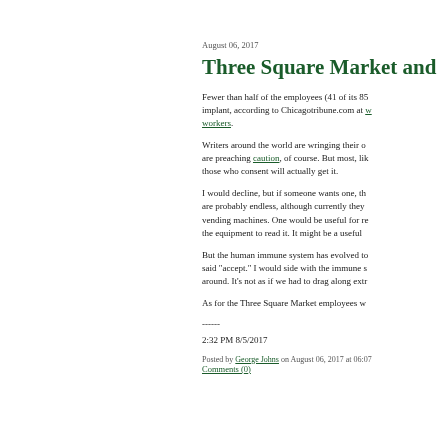August 06, 2017
Three Square Market and
Fewer than half of the employees (41 of its 85 implant, according to Chicagotribune.com at workers.
Writers around the world are wringing their o are preaching caution, of course. But most, like those who consent will actually get it.
I would decline, but if someone wants one, the are probably endless, although currently they vending machines. One would be useful for re the equipment to read it. It might be a useful
But the human immune system has evolved to said "accept." I would side with the immune s around. It's not as if we had to drag along extr
As for the Three Square Market employees w
------
2:32 PM 8/5/2017
Posted by George Johns on August 06, 2017 at 06:07
Comments (0)